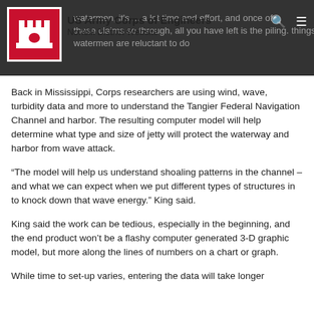US Army Corps of Engineers Norfolk District Website
Back in Mississippi, Corps researchers are using wind, wave, turbidity data and more to understand the Tangier Federal Navigation Channel and harbor. The resulting computer model will help determine what type and size of jetty will protect the waterway and harbor from wave attack.
“The model will help us understand shoaling patterns in the channel – and what we can expect when we put different types of structures in to knock down that wave energy.” King said.
King said the work can be tedious, especially in the beginning, and the end product won’t be a flashy computer generated 3-D graphic model, but more along the lines of numbers on a chart or graph.
While time to set-up varies, entering the data will take longer than…